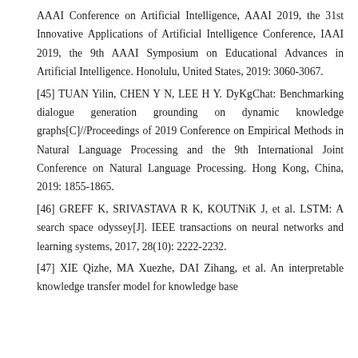AAAI Conference on Artificial Intelligence, AAAI 2019, the 31st Innovative Applications of Artificial Intelligence Conference, IAAI 2019, the 9th AAAI Symposium on Educational Advances in Artificial Intelligence. Honolulu, United States, 2019: 3060-3067.
[45] TUAN Yilin, CHEN Y N, LEE H Y. DyKgChat: Benchmarking dialogue generation grounding on dynamic knowledge graphs[C]//Proceedings of 2019 Conference on Empirical Methods in Natural Language Processing and the 9th International Joint Conference on Natural Language Processing. Hong Kong, China, 2019: 1855-1865.
[46] GREFF K, SRIVASTAVA R K, KOUTNiK J, et al. LSTM: A search space odyssey[J]. IEEE transactions on neural networks and learning systems, 2017, 28(10): 2222-2232.
[47] XIE Qizhe, MA Xuezhe, DAI Zihang, et al. An interpretable knowledge transfer model for knowledge base